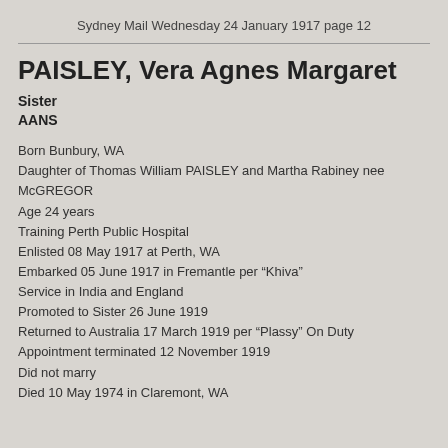Sydney Mail Wednesday 24 January 1917 page 12
PAISLEY, Vera Agnes Margaret
Sister
AANS
Born Bunbury, WA
Daughter of Thomas William PAISLEY and Martha Rabiney nee McGREGOR
Age 24 years
Training Perth Public Hospital
Enlisted 08 May 1917 at Perth, WA
Embarked 05 June 1917 in Fremantle per “Khiva”
Service in India and England
Promoted to Sister 26 June 1919
Returned to Australia 17 March 1919 per “Plassy” On Duty
Appointment terminated 12 November 1919
Did not marry
Died 10 May 1974 in Claremont, WA